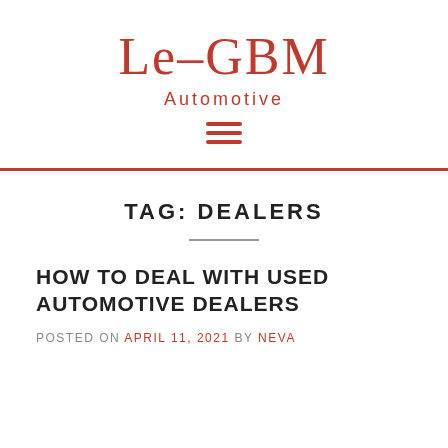Le-GBM
Automotive
[Figure (other): Hamburger menu icon with three red horizontal lines]
TAG: DEALERS
HOW TO DEAL WITH USED AUTOMOTIVE DEALERS
POSTED ON APRIL 11, 2021 BY NEVA